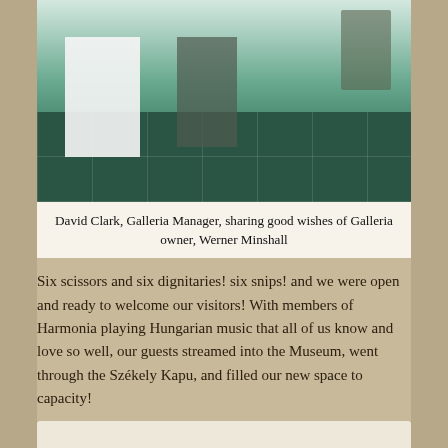[Figure (photo): Partial photo showing people at what appears to be a museum or gallery opening. White-clad figure visible, green marble flooring.]
David Clark, Galleria Manager, sharing good wishes of Galleria owner, Werner Minshall
Six scissors and six dignitaries! six snips! and we were open and ready to welcome our visitors! With members of Harmonia playing Hungarian music that all of us know and love so well, our guests streamed into the Museum, went through the Székely Kapu, and filled our new space to capacity!
[Figure (photo): Partial photo at bottom of page, content not fully visible.]